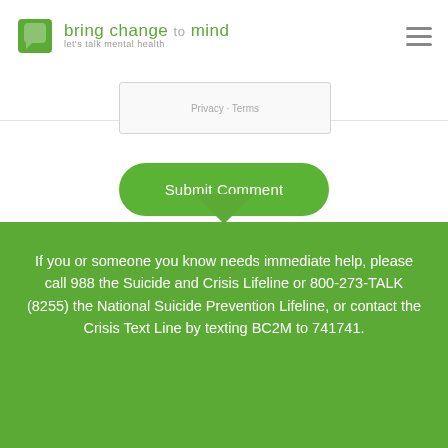bring change to mind — let's talk mental health
[Figure (screenshot): reCAPTCHA widget box with Privacy and Terms links]
[Figure (screenshot): Submit Comment button, green rounded pill shape]
If you or someone you know needs immediate help, please call 988 the Suicide and Crisis Lifeline or 800-273-TALK (8255) the National Suicide Prevention Lifeline, or contact the Crisis Text Line by texting BC2M to 741741.